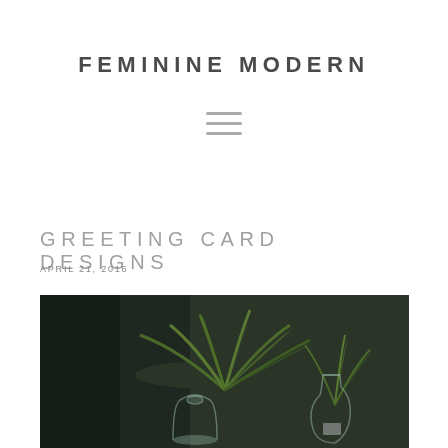FEMININE MODERN
[Figure (other): Hamburger menu icon (three horizontal lines)]
GREETING CARD DESIGNS
APRIL 21, 2016
[Figure (photo): Dark moody photo of green tropical plant leaves in clear glass vases/bottles on a dark background]